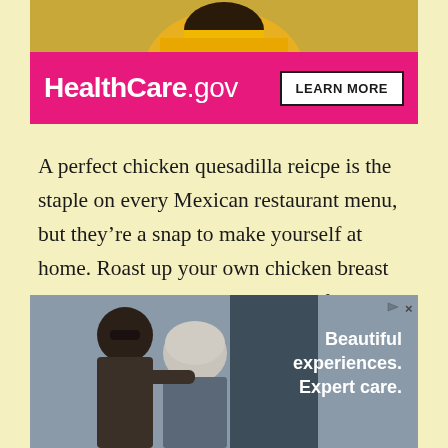[Figure (photo): Person in yellow shirt, cropped at top of page, part of HealthCare.gov advertisement]
[Figure (advertisement): HealthCare.gov pink banner advertisement with 'LEARN MORE' button in white box]
A perfect chicken quesadilla reicpe is the staple on every Mexican restaurant menu, but they’re a snap to make yourself at home. Roast up your own chicken breast or make it even easier on yourself by using a prepared rotisserie chicken.
[Figure (photo): Advertisement showing a happy couple (older woman with grey hair and man with sunglasses) with text 'Beautiful experiences. Expert care.']